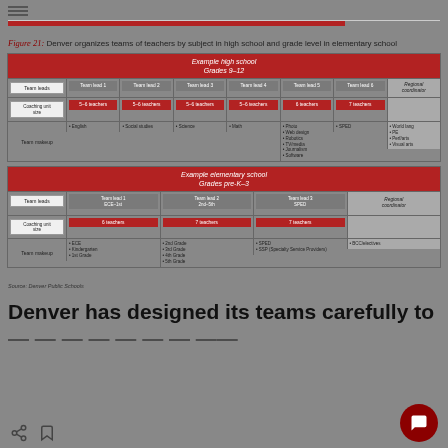Figure 21: Denver organizes teams of teachers by subject in high school and grade level in elementary school
[Figure (organizational-chart): Organizational chart showing Denver's team structure for Example high school (Grades 9-12) and Example elementary school (Grades pre-K-3). High school has Team Leads 1-6 with 5-6 teachers each, covering English, Social studies, Science, Math, Photo/Web design/Robotics/TV media/Journalism/Software, SPED, and a Regional coordinator covering World lang/PE/Perf arts/Visual arts. Elementary school has Team Lead 1 (ECE-1st), Team Lead 2 (2nd-5th), Team Lead 3 (SPED), each with ~6-7 teachers, and a Regional coordinator for BCC/electives.]
Source: Denver Public Schools
Denver has designed its teams carefully to